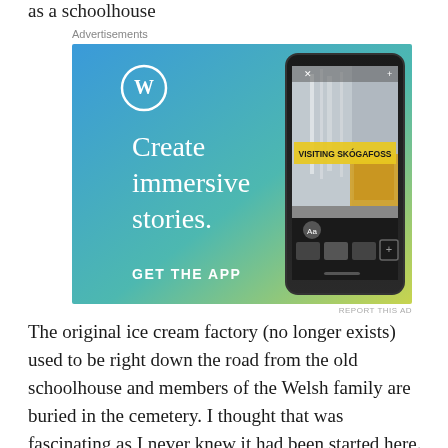as a schoolhouse
[Figure (screenshot): WordPress advertisement showing 'Create immersive stories. GET THE APP' with a phone displaying a travel story about Visiting Skógafoss waterfall. Blue-green gradient background with yellow jacket person visible on phone screen.]
Advertisements
REPORT THIS AD
The original ice cream factory (no longer exists) used to be right down the road from the old schoolhouse and members of the Welsh family are buried in the cemetery. I thought that was fascinating as I never knew it had been started here.